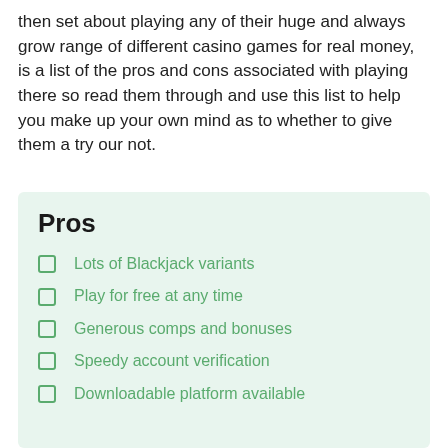then set about playing any of their huge and always grow range of different casino games for real money, is a list of the pros and cons associated with playing there so read them through and use this list to help you make up your own mind as to whether to give them a try our not.
Pros
Lots of Blackjack variants
Play for free at any time
Generous comps and bonuses
Speedy account verification
Downloadable platform available